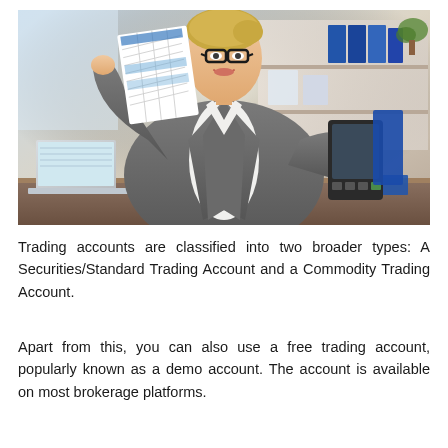[Figure (photo): A businesswoman in a grey suit and glasses sits at a desk, smiling and holding up a printed spreadsheet/document in one hand and a calculator/tablet in the other. A laptop is visible on the left side of the desk, and an office shelf with binders is in the background.]
Trading accounts are classified into two broader types: A Securities/Standard Trading Account and a Commodity Trading Account.
Apart from this, you can also use a free trading account, popularly known as a demo account. The account is available on most brokerage platforms.